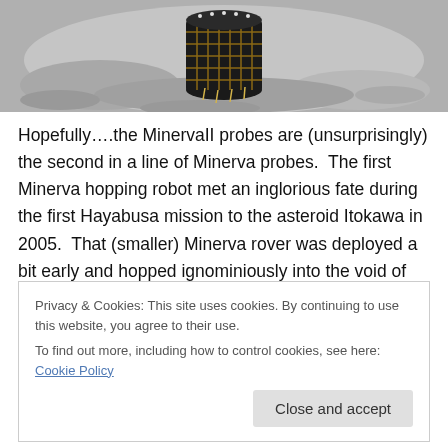[Figure (photo): Photograph of a Minerva probe (cylindrical hopping robot with solar panel grid) resting on a rocky/gravelly asteroid surface.]
Hopefully….the MinervaII probes are (unsurprisingly) the second in a line of Minerva probes.  The first Minerva hopping robot met an inglorious fate during the first Hayabusa mission to the asteroid Itokawa in 2005.  That (smaller) Minerva rover was deployed a bit early and hopped ignominiously into the void of space.  Sadly I don't
Privacy & Cookies: This site uses cookies. By continuing to use this website, you agree to their use.
To find out more, including how to control cookies, see here: Cookie Policy
Close and accept